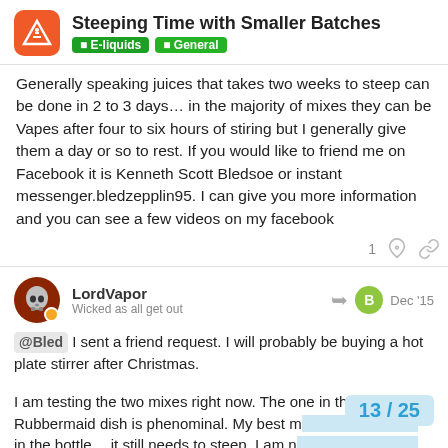Steeping Time with Smaller Batches | E-liquids > General
Generally speaking juices that takes two weeks to steep can be done in 2 to 3 days… in the majority of mixes they can be Vapes after four to six hours of stiring but I generally give them a day or so to rest. If you would like to friend me on Facebook it is Kenneth Scott Bledsoe or instant messenger.bledzepplin95. I can give you more information and you can see a few videos on my facebook
LordVapor Wicked as all get out — Dec '15
@Bled I sent a friend request. I will probably be buying a hot plate stirrer after Christmas.
I am testing the two mixes right now. The one in the Rubbermaid dish is phenominal. My best m… in the bottle… it still needs to steep. I am n…
13 / 25